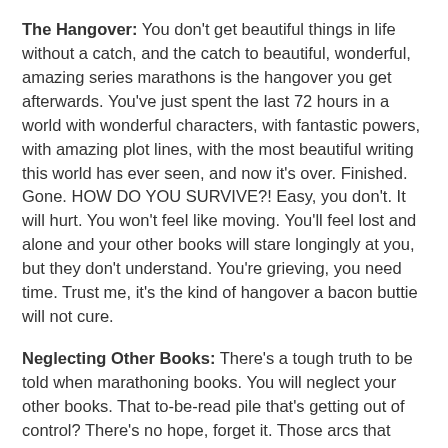The Hangover: You don't get beautiful things in life without a catch, and the catch to beautiful, wonderful, amazing series marathons is the hangover you get afterwards. You've just spent the last 72 hours in a world with wonderful characters, with fantastic powers, with amazing plot lines, with the most beautiful writing this world has ever seen, and now it's over. Finished. Gone. HOW DO YOU SURVIVE?! Easy, you don't. It will hurt. You won't feel like moving. You'll feel lost and alone and your other books will stare longingly at you, but they don't understand. You're grieving, you need time. Trust me, it's the kind of hangover a bacon buttie will not cure.
Neglecting Other Books: There's a tough truth to be told when marathoning books. You will neglect your other books. That to-be-read pile that's getting out of control? There's no hope, forget it. Those arcs that you've got to read before their release? You're going to kick yourself next week. You can't help, you get sucked in, you love the characters, the world is amazing - no mr fluffy contemporary, I cannot read you now, I'm kicking ass and falling in love with crazy, unhinged demons, muwhaha.. ha. Say goodbye to your organisation people.